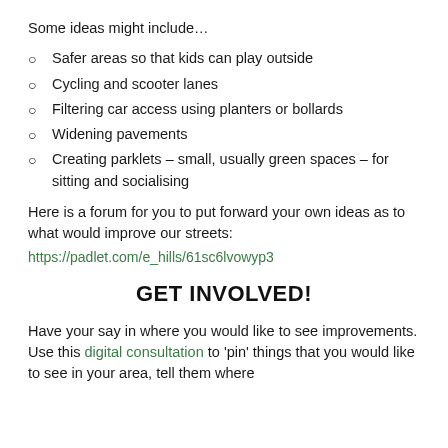Some ideas might include…
Safer areas so that kids can play outside
Cycling and scooter lanes
Filtering car access using planters or bollards
Widening pavements
Creating parklets – small, usually green spaces – for sitting and socialising
Here is a forum for you to put forward your own ideas as to what would improve our streets: https://padlet.com/e_hills/61sc6lvowyp3
GET INVOLVED!
Have your say in where you would like to see improvements. Use this digital consultation to 'pin' things that you would like to see in your area, tell them where…